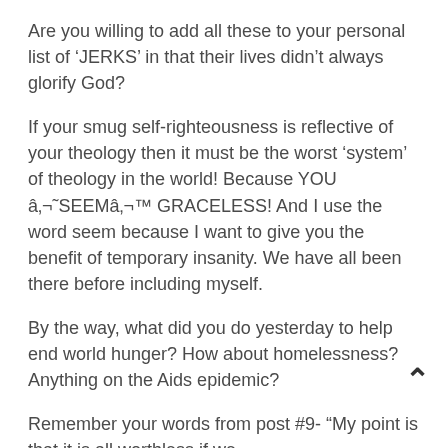Are you willing to add all these to your personal list of ‘JERKS’ in that their lives didn’t always glorify God?
If your smug self-righteousness is reflective of your theology then it must be the worst ‘system’ of theology in the world! Because YOU ‘SEEM’ GRACELESS! And I use the word seem because I want to give you the benefit of temporary insanity. We have all been there before including myself.
By the way, what did you do yesterday to help end world hunger? How about homelessness? Anything on the Aids epidemic?
Remember your words from post #9- “My point is that it is all worthless if we